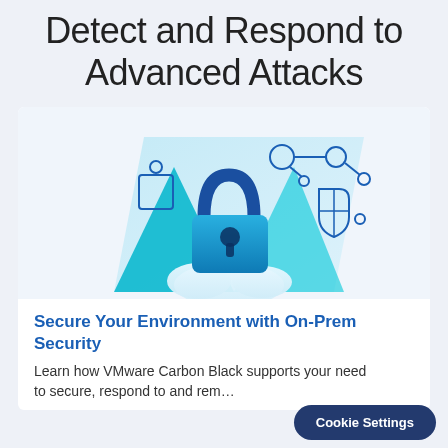Detect and Respond to Advanced Attacks
[Figure (illustration): Security illustration with a padlock, cloud, shield icon, and network graph nodes on a blue gradient background]
Secure Your Environment with On-Prem Security
Learn how VMware Carbon Black supports your need to secure, respond to and rem…
Cookie Settings